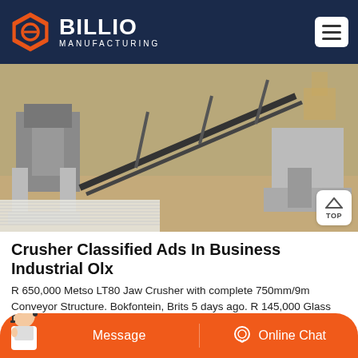[Figure (logo): Billio Manufacturing logo with orange hexagon icon on dark navy header]
[Figure (photo): Industrial crushing and conveyor equipment at a mining/quarry site, showing jaw crusher, belt conveyor, and concrete structures]
Crusher Classified Ads In Business Industrial Olx
R 650,000 Metso LT80 Jaw Crusher with complete 750mm/9m Conveyor Structure. Bokfontein, Brits 5 days ago. R 145,000 Glass recycling crusher and screen. Theunissen, Free State6 days ago. R 1,600,000 Jaw Crusher Hadfield.
[Figure (infographic): Orange bottom bar with Message button on left and Online Chat button with headset icon on right, customer service agent image on far left]